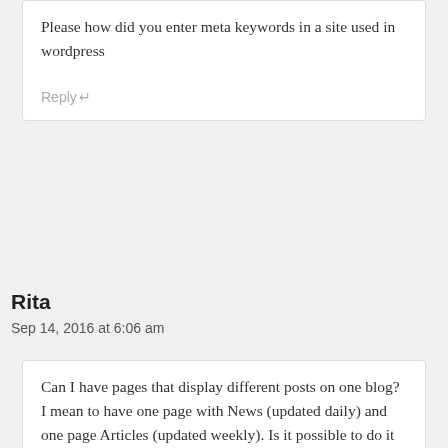Please how did you enter meta keywords in a site used in wordpress
Reply
Rita
Sep 14, 2016 at 6:06 am
Can I have pages that display different posts on one blog? I mean to have one page with News (updated daily) and one page Articles (updated weekly). Is it possible to do it on WordPress.